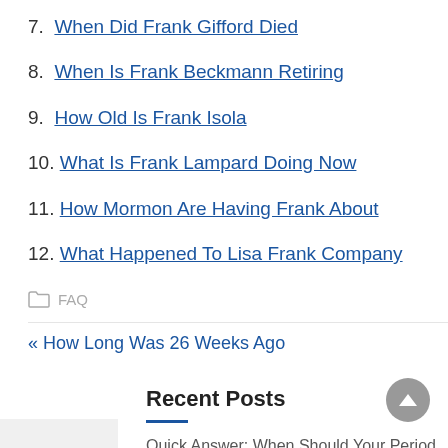7. When Did Frank Gifford Died
8. When Is Frank Beckmann Retiring
9. How Old Is Frank Isola
10. What Is Frank Lampard Doing Now
11. How Mormon Are Having Frank About
12. What Happened To Lisa Frank Company
FAQ
« How Long Was 26 Weeks Ago
Question: What Is 1 Divide 4 Of 10 »
Recent Posts
Quick Answer: When Should Your Period...